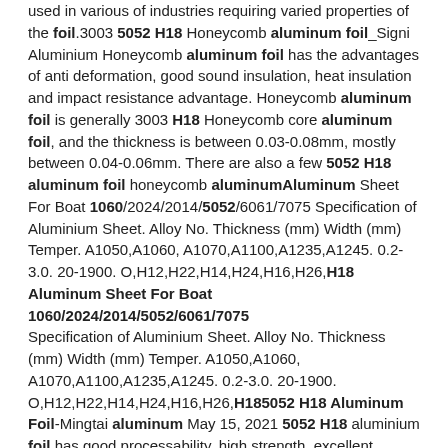used in various of industries requiring varied properties of the foil.3003 5052 H18 Honeycomb aluminum foil_Signi Aluminium Honeycomb aluminum foil has the advantages of anti deformation, good sound insulation, heat insulation and impact resistance advantage. Honeycomb aluminum foil is generally 3003 H18 Honeycomb core aluminum foil, and the thickness is between 0.03-0.08mm, mostly between 0.04-0.06mm. There are also a few 5052 H18 aluminum foil honeycomb aluminumAluminum Sheet For Boat 1060/2024/2014/5052/6061/7075 Specification of Aluminium Sheet. Alloy No. Thickness (mm) Width (mm) Temper. A1050,A1060, A1070,A1100,A1235,A1245. 0.2-3.0. 20-1900. O,H12,H22,H14,H24,H16,H26,H18 Aluminum Sheet For Boat 1060/2024/2014/5052/6061/7075 Specification of Aluminium Sheet. Alloy No. Thickness (mm) Width (mm) Temper. A1050,A1060, A1070,A1100,A1235,A1245. 0.2-3.0. 20-1900. O,H12,H22,H14,H24,H16,H26,H185052 H18 Aluminum Foil-Mingtai aluminum May 15, 2021 5052 H18 aluminium foil has good processability, high strength, excellent surface treatment, excellent corrosion resistance and so on.In addition, 5052 H18 aluminum foil is ideal for food containers.Therefore, it also has a